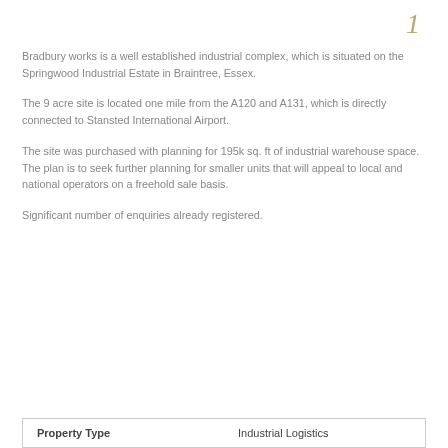[Figure (other): Decorative gold italic letter or initial at top right of page]
Bradbury works is a well established industrial complex, which is situated on the Springwood Industrial Estate in Braintree, Essex.
The 9 acre site is located one mile from the A120 and A131, which is directly connected to Stansted International Airport.
The site was purchased with planning for 195k sq. ft of industrial warehouse space. The plan is to seek further planning for smaller units that will appeal to local and national operators on a freehold sale basis.
Significant number of enquiries already registered.
| Property Type | Industrial Logistics |
| --- | --- |